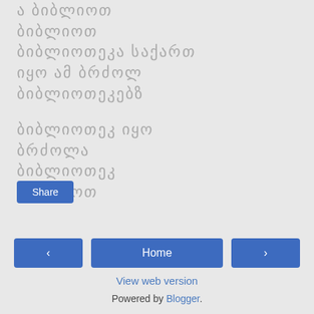ა ბიბლიოთ
ბიბლიოთ
ბიბლიოთეკა საქართ
იყო ამ ბრძოლ
ბიბლიოთეკებზ
ბიბლიოთეკ იყო
ბრძოლა
ბიბლიოთეკ
ბიბლიოთ
Share
‹
Home
›
View web version
Powered by Blogger.